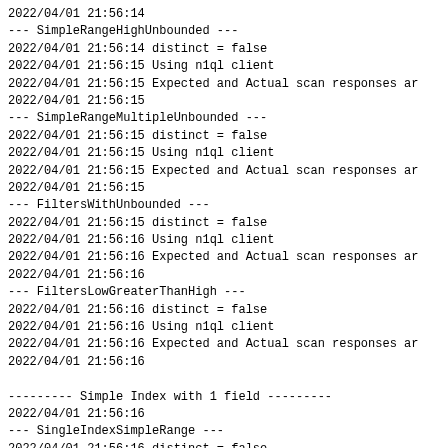2022/04/01 21:56:14
--- SimpleRangeHighUnbounded ---
2022/04/01 21:56:14 distinct = false
2022/04/01 21:56:15 Using n1ql client
2022/04/01 21:56:15 Expected and Actual scan responses ar
2022/04/01 21:56:15
--- SimpleRangeMultipleUnbounded ---
2022/04/01 21:56:15 distinct = false
2022/04/01 21:56:15 Using n1ql client
2022/04/01 21:56:15 Expected and Actual scan responses ar
2022/04/01 21:56:15
--- FiltersWithUnbounded ---
2022/04/01 21:56:15 distinct = false
2022/04/01 21:56:16 Using n1ql client
2022/04/01 21:56:16 Expected and Actual scan responses ar
2022/04/01 21:56:16
--- FiltersLowGreaterThanHigh ---
2022/04/01 21:56:16 distinct = false
2022/04/01 21:56:16 Using n1ql client
2022/04/01 21:56:16 Expected and Actual scan responses ar
2022/04/01 21:56:16
--------- Simple Index with 1 field ---------
2022/04/01 21:56:16
--- SingleIndexSimpleRange ---
2022/04/01 21:56:16 distinct = false
2022/04/01 21:56:17 Using n1ql client
2022/04/01 21:56:17 Expected and Actual scan responses ar
2022/04/01 21:56:17
--- SingleIndexSimpleRangesNonOverlapping ---